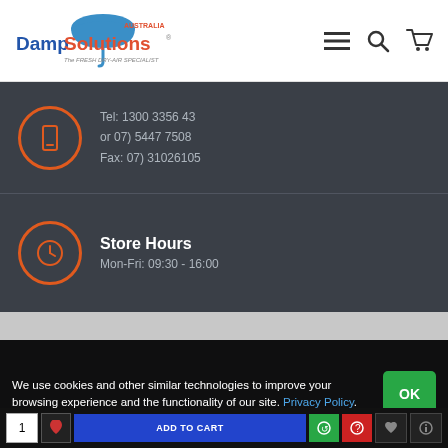[Figure (logo): DampSolutions Australia logo - 'The Fresh Dry-Air Specialist']
[Figure (other): Navigation icons: hamburger menu, search, shopping cart]
Tel: 1300 3356 43
or 07) 5447 7508
Fax: 07) 31026105
Store Hours
Mon-Fri: 09:30 - 16:00
We use cookies and other similar technologies to improve your browsing experience and the functionality of our site. Privacy Policy.